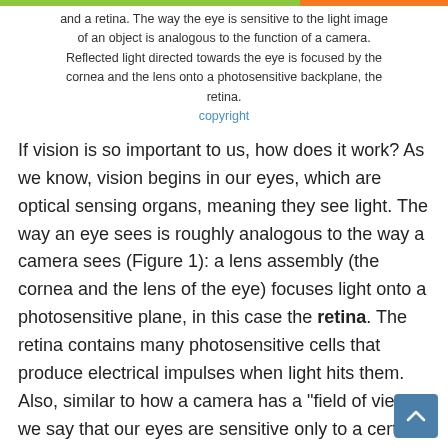and a retina. The way the eye is sensitive to the light image of an object is analogous to the function of a camera. Reflected light directed towards the eye is focused by the cornea and the lens onto a photosensitive backplane, the retina.
copyright
If vision is so important to us, how does it work? As we know, vision begins in our eyes, which are optical sensing organs, meaning they see light. The way an eye sees is roughly analogous to the way a camera sees (Figure 1): a lens assembly (the cornea and the lens of the eye) focuses light onto a photosensitive plane, in this case the retina. The retina contains many photosensitive cells that produce electrical impulses when light hits them. Also, similar to how a camera has a "field of view," we say that our eyes are sensitive only to a certain "visual field." For instance, we cannot see behind us, or even at 180 degrees without moving our eyes and shifting the visual field. Also like the camera, our eyes are not "smart." Eyes alone cannot make sense of the images they see; they just faithfully report those images. In order to really see,